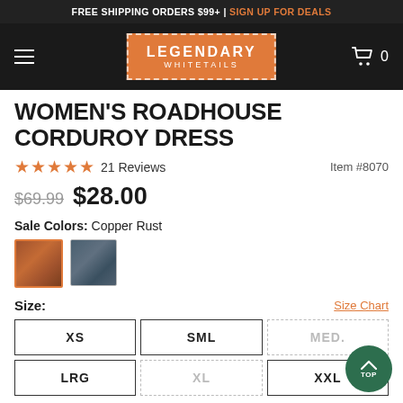FREE SHIPPING ORDERS $99+ | SIGN UP FOR DEALS
[Figure (logo): Legendary Whitetails logo on orange background with dashed border, navigation bar with hamburger menu and cart icon]
WOMEN'S ROADHOUSE CORDUROY DRESS
21 Reviews   Item #8070
$69.99  $28.00
Sale Colors:  Copper Rust
Size:
Size Chart
XS  SML  MED.  LRG  XL  XXL